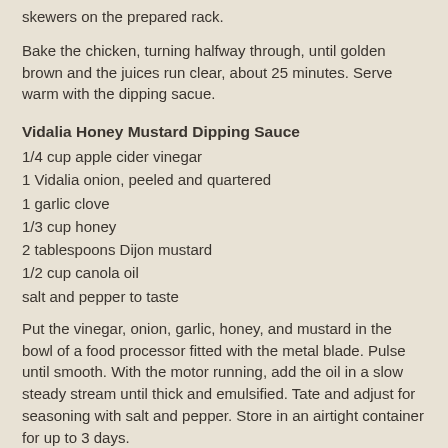skewers on the prepared rack.
Bake the chicken, turning halfway through, until golden brown and the juices run clear, about 25 minutes.  Serve warm with the dipping sacue.
Vidalia Honey Mustard Dipping Sauce
1/4 cup apple cider vinegar
1 Vidalia onion, peeled and quartered
1 garlic clove
1/3 cup honey
2 tablespoons Dijon mustard
1/2 cup canola oil
salt and pepper to taste
Put the vinegar, onion, garlic, honey, and mustard in the bowl of a food processor fitted with the metal blade.  Pulse until smooth.  With the motor running, add the oil in a slow steady stream until thick and emulsified.  Tate and adjust for seasoning with salt and pepper.  Store in an airtight container for up to 3 days.
I did make a small change in that I didn't use skewers but